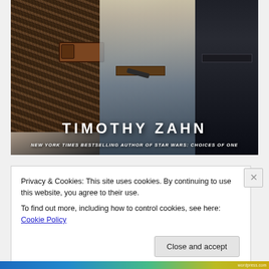[Figure (illustration): Book cover showing Chewbacca, Han Solo, and a third character (Imperial officer) in a painted illustration style. Timothy Zahn is credited as the author. Text reads 'TIMOTHY ZAHN' and 'NEW YORK TIMES BESTSELLING AUTHOR OF STAR WARS: CHOICES OF ONE'.]
Privacy & Cookies: This site uses cookies. By continuing to use this website, you agree to their use.
To find out more, including how to control cookies, see here: Cookie Policy
Close and accept